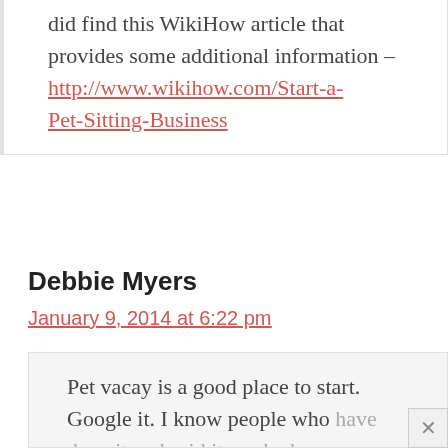did find this WikiHow article that provides some additional information – http://www.wikihow.com/Start-a-Pet-Sitting-Business
Debbie Myers
January 9, 2014 at 6:22 pm
Pet vacay is a good place to start. Google it. I know people who have done it and said it worked